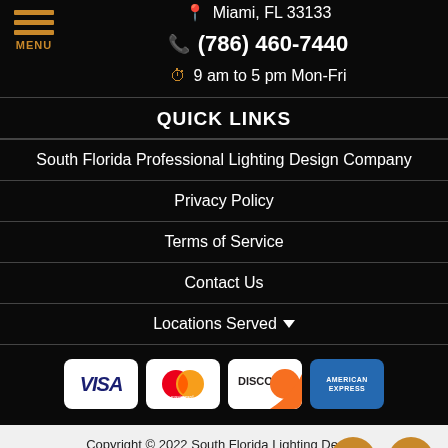Miami, FL 33133
(786) 460-7440
9 am to 5 pm Mon-Fri
QUICK LINKS
South Florida Professional Lighting Design Company
Privacy Policy
Terms of Service
Contact Us
Locations Served
[Figure (logo): Payment method logos: VISA, Mastercard, Discover, American Express]
Copyright © 2022 South Florida Lighting Design
Lead Generation by MarkMyWordsMed...